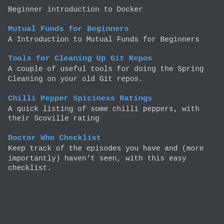Beginner introduction to Docker
Mutual Funds for Beginners
A Introduction to Mutual Funds for Beginners
Tools for Cleaning Up Git Repos
A couple of useful tools for doing the Spring Cleaning on your old Git repos.
Chilli Pepper Spiciness Ratings
A quick listing of some chilli peppers, with their Scoville rating
Doctor Who Checklist
Keep track of the episodes you have and (more importantly) haven't seen, with this easy checklist.